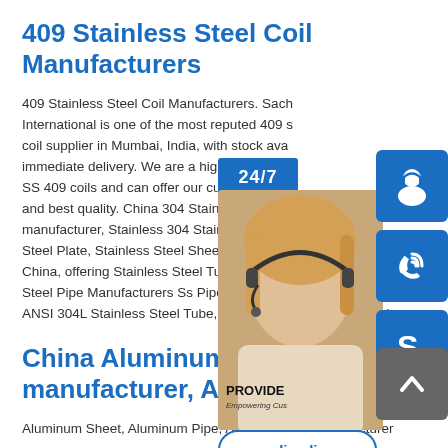409 Stainless Steel Coil Manufacturers
409 Stainless Steel Coil Manufacturers. Sachin International is one of the most reputed 409 stainless steel coil supplier in Mumbai, India, with stock available for immediate delivery. We are a high volume buyer of SS 409 coils and can offer our customers with the lowest and best quality. China 304 Stainless Steel Plate manufacturer, Stainless 304 Stainless Steel Plate, Steel Plate, Stainless Steel Sheet manufacturer from China, offering Stainless Steel Tube 316 304 Stainless Steel Pipe Manufacturers Ss Pipe 316 Grade ANSI 304L Stainless Steel Tube, 0.3mm 2507 Stainless Steel
[Figure (photo): Customer service agent photo with headset, alongside blue icon buttons for headset, phone, and Skype support, a 24/7 banner, PROVIDE Empowering Customers text, and Online Live button]
China Aluminum Sheet manufacturer, Aluminum Pipe
Aluminum Sheet, Aluminum Pipe, Aluminum Bar manufacturer